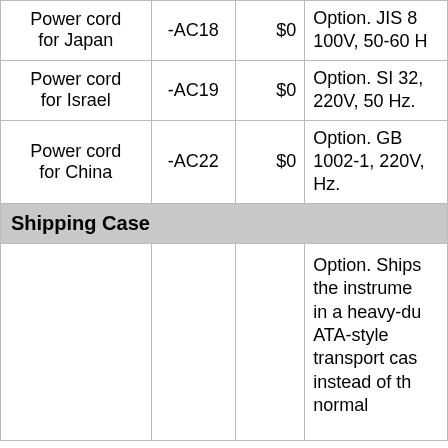|  | Option Code | Price | Description |
| --- | --- | --- | --- |
| Power cord for Japan | -AC18 | $0 | Option. JIS 8-100V, 50-60 H... |
| Power cord for Israel | -AC19 | $0 | Option. SI 32, 220V, 50 Hz. |
| Power cord for China | -AC22 | $0 | Option. GB 1002-1, 220V, Hz. |
| Shipping Case |  |  |  |
|  |  |  | Option. Ships the instrume in a heavy-du ATA-style transport cas instead of th normal ... |